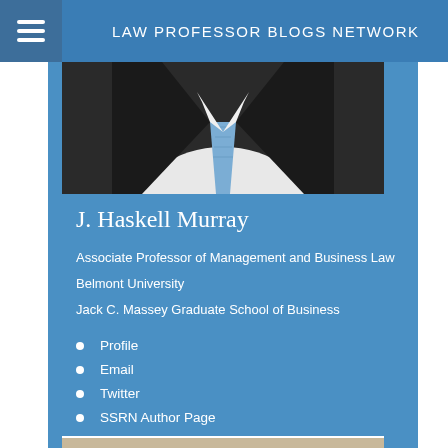LAW PROFESSOR BLOGS NETWORK
[Figure (photo): Partial photo of J. Haskell Murray in suit and blue tie, cropped at top]
J. Haskell Murray
Associate Professor of Management and Business Law
Belmont University
Jack C. Massey Graduate School of Business
Profile
Email
Twitter
SSRN Author Page
[Figure (photo): Photo of another person, a bald man in professional attire, beginning to appear at bottom of page]